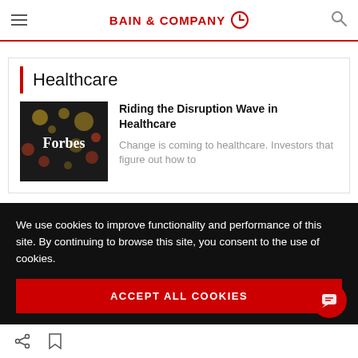BAIN & COMPANY
Healthcare
Riding the Disruption Wave in Healthcare
Change is coming to healthcare. Investors that figure out how to
[Figure (logo): Forbes logo on dark bokeh background]
We use cookies to improve functionality and performance of this site. By continuing to browse this site, you consent to the use of cookies.
ACCEPT ALL COOKIES